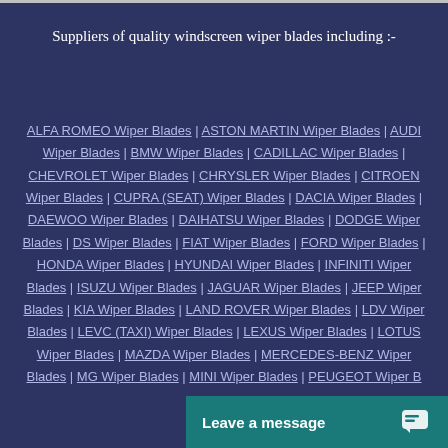Suppliers of quality windscreen wiper blades including :-
ALFA ROMEO Wiper Blades | ASTON MARTIN Wiper Blades | AUDI Wiper Blades | BMW Wiper Blades | CADILLAC Wiper Blades | CHEVROLET Wiper Blades | CHRYSLER Wiper Blades | CITROEN Wiper Blades | CUPRA (SEAT) Wiper Blades | DACIA Wiper Blades | DAEWOO Wiper Blades | DAIHATSU Wiper Blades | DODGE Wiper Blades | DS Wiper Blades | FIAT Wiper Blades | FORD Wiper Blades | HONDA Wiper Blades | HYUNDAI Wiper Blades | INFINITI Wiper Blades | ISUZU Wiper Blades | JAGUAR Wiper Blades | JEEP Wiper Blades | KIA Wiper Blades | LAND ROVER Wiper Blades | LDV Wiper Blades | LEVC (TAXI) Wiper Blades | LEXUS Wiper Blades | LOTUS Wiper Blades | MAZDA Wiper Blades | MERCEDES-BENZ Wiper Blades | MG Wiper Blades | MINI Wiper Blades | PEUGEOT Wiper Blades
Leave a message